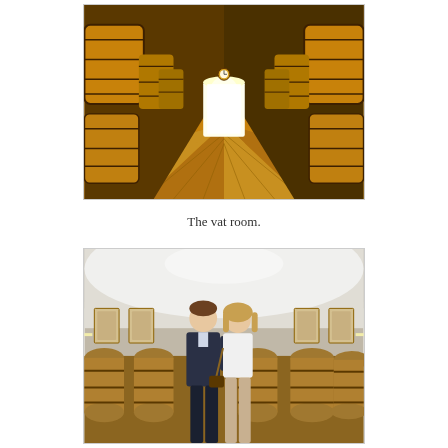[Figure (photo): Interior of a winery vat room with large wooden barrels lined up on both sides, a checkered black and yellow tile floor leading to a bright doorway at the far end, and overhead lights illuminating the space.]
The vat room.
[Figure (photo): Two people, a man in a dark blazer and a woman in a white top, standing in front of rows of oak wine barrels in a winery cellar with white vaulted ceiling.]